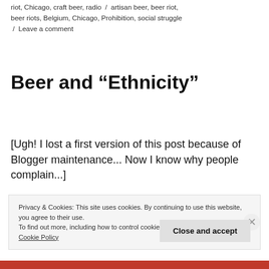riot, Chicago, craft beer, radio / artisan beer, beer riot, beer riots, Belgium, Chicago, Prohibition, social struggle / Leave a comment
Beer and “Ethnicity”
[Ugh! I lost a first version of this post because of Blogger maintenance... Now I know why people complain...]
Privacy & Cookies: This site uses cookies. By continuing to use this website, you agree to their use.
To find out more, including how to control cookies, see here:
Cookie Policy
Close and accept